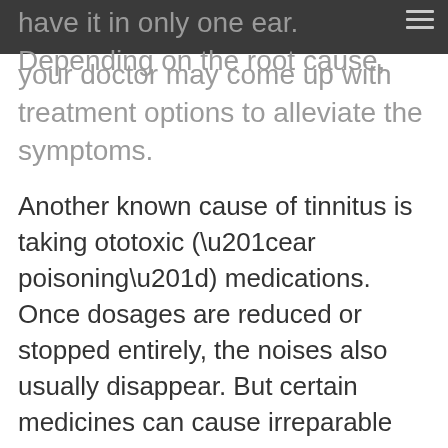have it in only one ear. Depending on the root cause, your doctor may come up with treatment options to alleviate the symptoms.
Another known cause of tinnitus is taking ototoxic (“ear poisoning”) medications. Once dosages are reduced or stopped entirely, the noises also usually disappear. But certain medicines can cause irreparable damage, resulting in